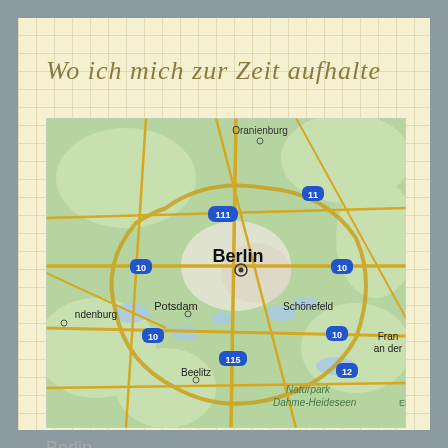Wo ich mich zur Zeit aufhalte
[Figure (map): Google Maps view showing Berlin and surrounding area including Oranienburg to the north, Potsdam to the southwest, Schönefeld to the south, Beelitz to the south-southwest. Road numbers visible include 111, 11, 10, 115, 12. Naturpark Dahme-Heideseen labeled in the south. Berlin city center marked with a circle.]
Berlin